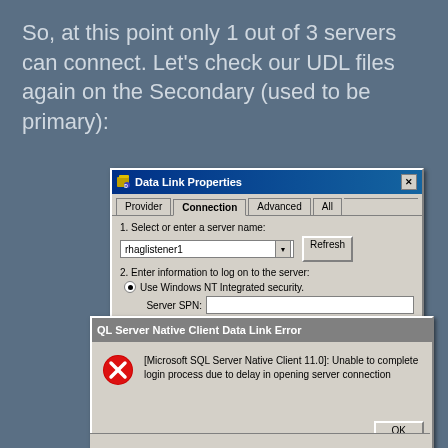So, at this point only 1 out of 3 servers can connect.  Let's check our UDL files again on the Secondary (used to be primary):
[Figure (screenshot): Windows Data Link Properties dialog showing Connection tab with server name 'rhaglistener1' and Windows NT Integrated security selected with Server SPN field. Overlaid by a SQL Server Native Client Data Link Error dialog showing error: [Microsoft SQL Server Native Client 11.0]: Unable to complete login process due to delay in opening server connection, with OK button.]